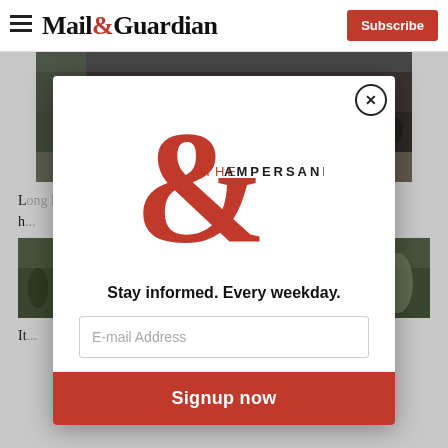Mail&Guardian — Subscribe
[Figure (photo): Crowd of people sitting in a large indoor space, likely a government or social services office in Africa]
L... di... bl... fr... Afri...
h...
[Figure (photo): Partially visible photo behind modal overlay]
[Figure (other): Mail & Guardian 'The Ampersand' newsletter modal popup with large red ampersand logo, tagline 'Stay informed. Every weekday.', email address input field, and 'Signup now' button]
It...